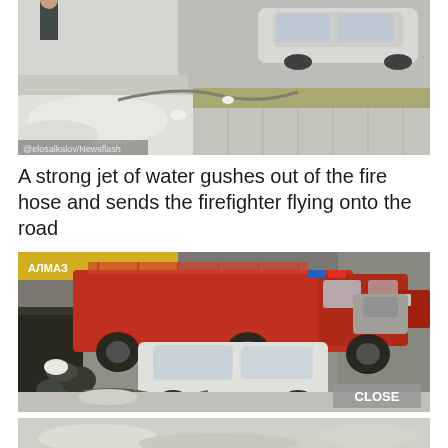[Figure (photo): CCTV screenshot of a snowy street with a car parked on the road and snow on the sidewalk. Watermark reading '@elosalkalov/Newsflash' visible at bottom left.]
A strong jet of water gushes out of the fire hose and sends the firefighter flying onto the road
[Figure (photo): CCTV screenshot showing a red fire truck parked on a street with a white car beside it, and firefighters on the ground. A 'CLOSE' button overlay is visible at bottom right.]
[Figure (photo): Partial CCTV screenshot of another scene, mostly grey/snowy ground.]